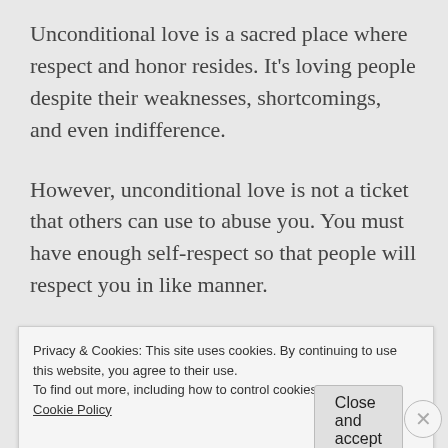Unconditional love is a sacred place where respect and honor resides. It's loving people despite their weaknesses, shortcomings, and even indifference.
However, unconditional love is not a ticket that others can use to abuse you. You must have enough self-respect so that people will respect you in like manner.
Show unconditional love without being tolerant,
Privacy & Cookies: This site uses cookies. By continuing to use this website, you agree to their use.
To find out more, including how to control cookies, see here: Cookie Policy